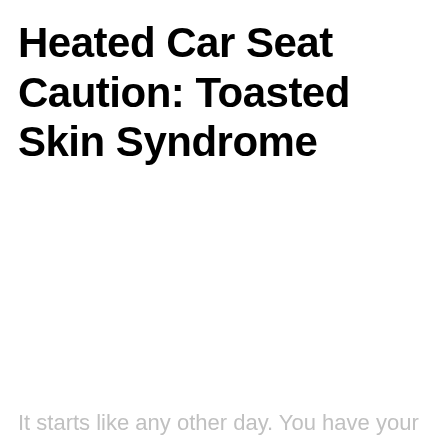Heated Car Seat Caution: Toasted Skin Syndrome
It starts like any other day. You have your